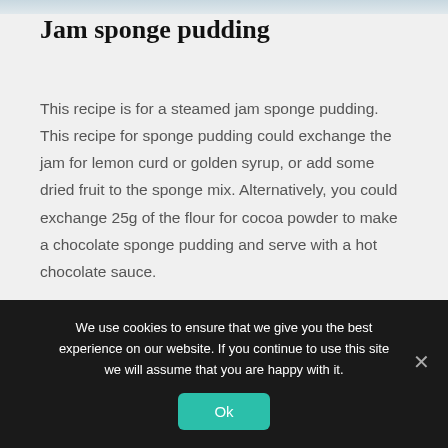[Figure (photo): Partial image strip at top of page, appears to be a food photo (jam sponge pudding)]
Jam sponge pudding
This recipe is for a steamed jam sponge pudding. This recipe for sponge pudding could exchange the jam for lemon curd or golden syrup, or add some dried fruit to the sponge mix. Alternatively, you could exchange 25g of the flour for cocoa powder to make a chocolate sponge pudding and serve with a hot chocolate sauce.
We use cookies to ensure that we give you the best experience on our website. If you continue to use this site we will assume that you are happy with it.